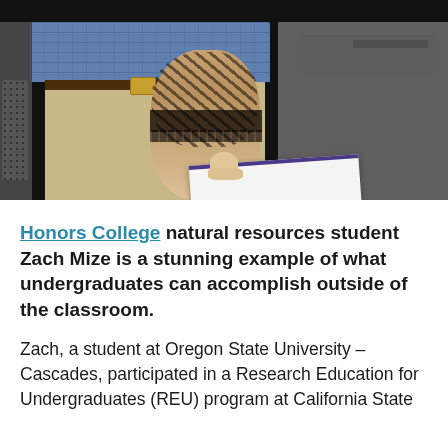[Figure (photo): Photo of two people standing, one with tattoos on arm holding a document/certificate with a purple border. The person on the left wears a blue plaid shirt and khaki pants with a brown belt. The person on the right wears a gray t-shirt. Background shows dark equipment and a monitor.]
Honors College natural resources student Zach Mize is a stunning example of what undergraduates can accomplish outside of the classroom.
Zach, a student at Oregon State University – Cascades, participated in a Research Education for Undergraduates (REU) program at California State...